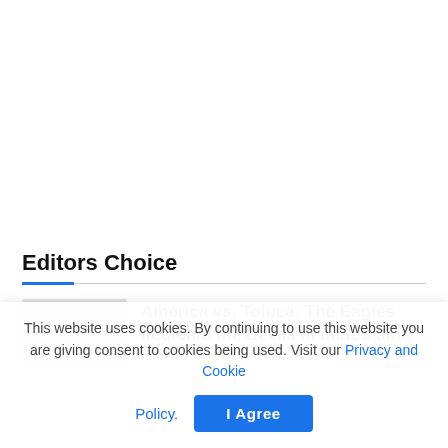Editors Choice
America vs. Toluca: The Eagles liquidate the Devils in added time
This website uses cookies. By continuing to use this website you are giving consent to cookies being used. Visit our Privacy and Cookie Policy.